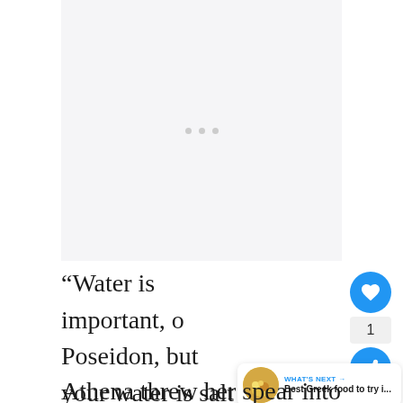[Figure (other): Advertisement placeholder area with three light gray dots centered in a light gray box]
“Water is important, o Poseidon, but your water is salt water, and can’t be used for growth,” she said. “With my blessing, I will give this city everlasting life.”
Athena threw her spear into the ground.